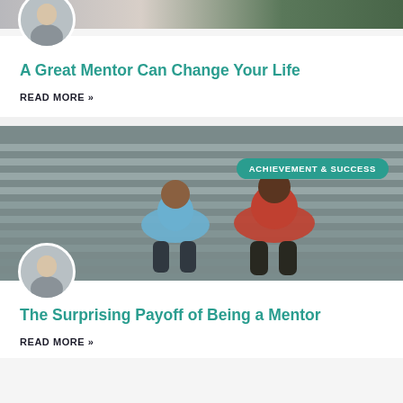[Figure (photo): Photo of two people, partially cropped at top, with a circular avatar of a man below]
A Great Mentor Can Change Your Life
READ MORE »
[Figure (photo): Two men sitting on bleachers, one in a blue shirt and one in a red hoodie, talking. Badge reads ACHIEVEMENT & SUCCESS. Circular avatar of a man below.]
The Surprising Payoff of Being a Mentor
READ MORE »